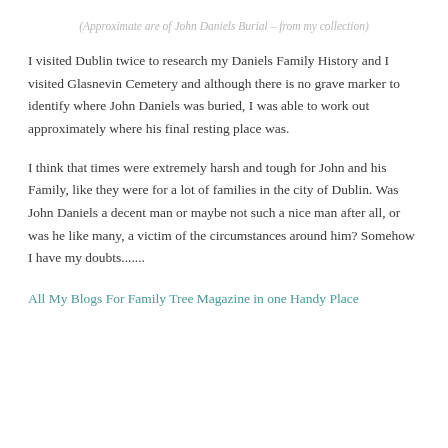(Approximate are of John Daniels Burial – from my collection)
I visited Dublin twice to research my Daniels Family History and I visited Glasnevin Cemetery and although there is no grave marker to identify where John Daniels was buried, I was able to work out approximately where his final resting place was.
I think that times were extremely harsh and tough for John and his Family, like they were for a lot of families in the city of Dublin. Was John Daniels a decent man or maybe not such a nice man after all, or was he like many, a victim of the circumstances around him? Somehow I have my doubts.......
All My Blogs For Family Tree Magazine in one Handy Place